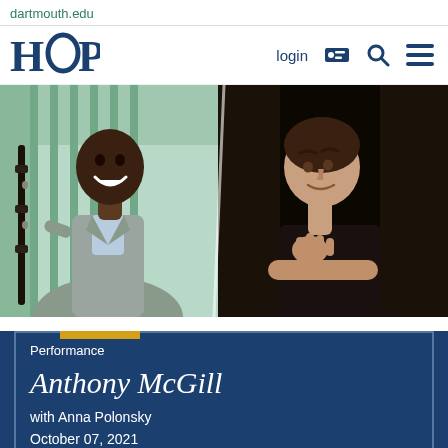dartmouth.edu
[Figure (logo): HOP logo - Hopkins Center for the Arts at Dartmouth]
login
[Figure (photo): Split photo: left side shows Anthony McGill smiling and holding a clarinet, wearing a grey suit, with a green background; right side shows Anna Polonsky resting her chin on her hand, wearing a black outfit, with a dark background.]
Performance
Anthony McGill
with Anna Polonsky
October 07, 2021